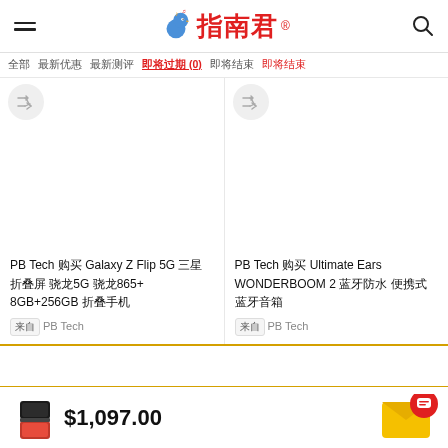指南君 - navigation header with hamburger menu and search icon
全部  最新优惠  最新测评  即将过期(0)  来自官网  即将结束
PB Tech 购买 Galaxy Z Flip 5G 三星折叠屏 骁龙5G 骁龙865+ 8GB+256GB 折叠手机
来自 PB Tech
PB Tech 购买 Ultimate Ears WONDERBOOM 2 蓝牙防水 便携式 蓝牙音箱
来自 PB Tech
$1,097.00